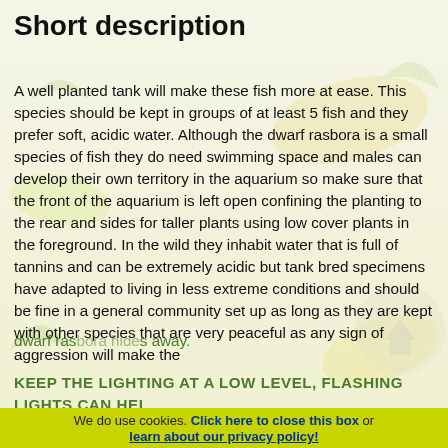Short description
A well planted tank will make these fish more at ease. This species should be kept in groups of at least 5 fish and they prefer soft, acidic water. Although the dwarf rasbora is a small species of fish they do need swimming space and males can develop their own territory in the aquarium so make sure that the front of the aquarium is left open confining the planting to the rear and sides for taller plants using low cover plants in the foreground. In the wild they inhabit water that is full of tannins and can be extremely acidic but tank bred specimens have adapted to living in less extreme conditions and should be fine in a general community set up as long as they are kept with other species that are very peaceful as any sign of aggression will make the dwarf ras[bora hide]... away.
We do use cookies. Click here to close this box or learn about our privacy policy!